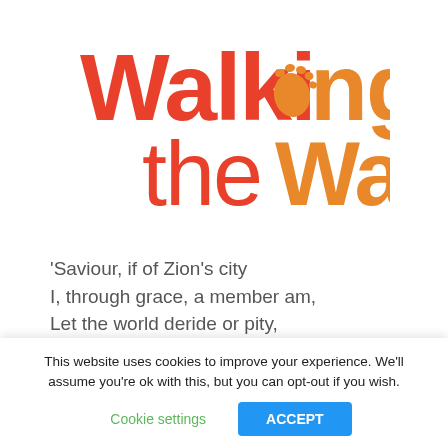[Figure (logo): Walking the Way logo — 'Walking' in red/orange with a footprint replacing the 'o', 'the Way' in orange-brown below]
'Saviour, if of Zion's city
I, through grace, a member am,
Let the world deride or pity,
I will glory in thy name.'
John Newton (1725-1807)
This website uses cookies to improve your experience. We'll assume you're ok with this, but you can opt-out if you wish.
Cookie settings
ACCEPT